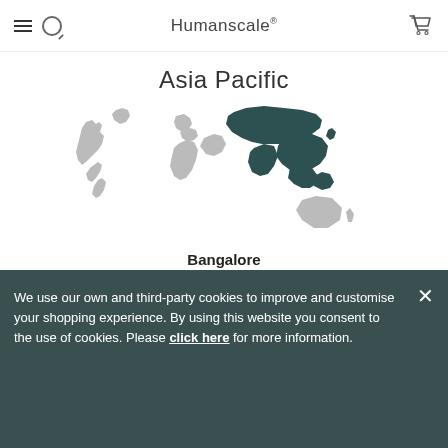Humanscale
Asia Pacific
[Figure (map): World map with Asia Pacific region highlighted in dark teal/green color, rest of world in light gray]
Bangalore
We use our own and third-party cookies to improve and customise your shopping experience. By using this website you consent to the use of cookies. Please click here for more information.